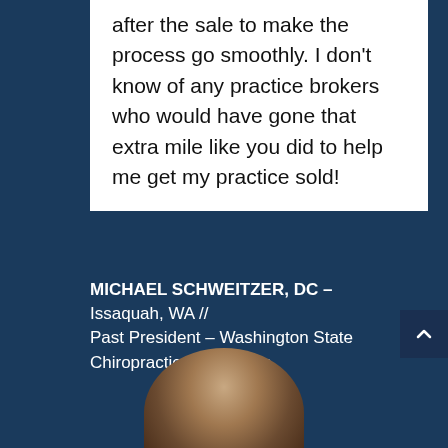after the sale to make the process go smoothly. I don't know of any practice brokers who would have gone that extra mile like you did to help me get my practice sold!
MICHAEL SCHWEITZER, DC – Issaquah, WA // Past President – Washington State Chiropractic Association
[Figure (photo): Partial portrait photo of a person, showing the top of a head at the bottom of the page]